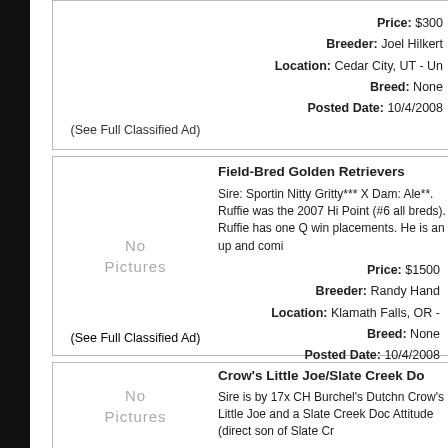(See Full Classified Ad)
Price: $300
Breeder: Joel Hilkert
Location: Cedar City, UT - Un
Breed: None
Posted Date: 10/4/2008
Field-Bred Golden Retrievers
Sire: Sportin Nitty Gritty*** X Dam: Ale**. Ruffie was the 2007 Hi Point (#6 all breds). Ruffie has one Q win placements. He is an up and comi
[Figure (other): No Pictures placeholder]
(See Full Classified Ad)
Price: $1500
Breeder: Randy Hand
Location: Klamath Falls, OR -
Breed: None
Posted Date: 10/4/2008
Crow's Little Joe/Slate Creek Do
Sire is by 17x CH Burchel's Dutchn Crow's Little Joe and a Slate Creek Doc Attitude (direct son of Slate Cr
[Figure (other): No Pictures placeholder]